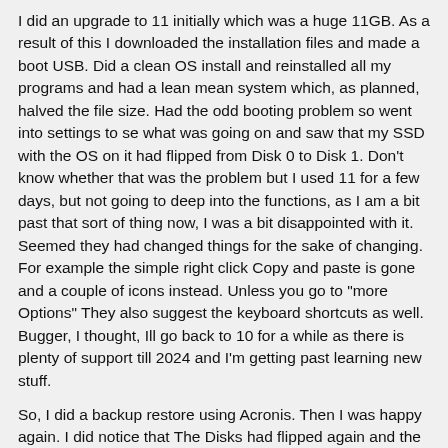I did an upgrade to 11 initially which was a huge 11GB. As a result of this I downloaded the installation files and made a boot USB. Did a clean OS install and reinstalled all my programs and had a lean mean system which, as planned, halved the file size. Had the odd booting problem so went into settings to se what was going on and saw that my SSD with the OS on it had flipped from Disk 0 to Disk 1. Don't know whether that was the problem but I used 11 for a few days, but not going to deep into the functions, as I am a bit past that sort of thing now, I was a bit disappointed with it. Seemed they had changed things for the sake of changing. For example the simple right click Copy and paste is gone and a couple of icons instead. Unless you go to "more Options" They also suggest the keyboard shortcuts as well. Bugger, I thought, Ill go back to 10 for a while as there is plenty of support till 2024 and I'm getting past learning new stuff.

So, I did a backup restore using Acronis. Then I was happy again. I did notice that The Disks had flipped again and the OS is back to Disk 0.

Any thoughts on the flipping?

Thanks, Ken
wainuitech
28-11-2021 08:34 AM